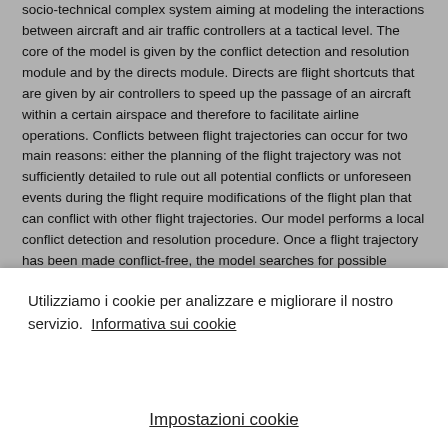socio-technical complex system aiming at modeling the interactions between aircraft and air traffic controllers at a tactical level. The core of the model is given by the conflict detection and resolution module and by the directs module. Directs are flight shortcuts that are given by air controllers to speed up the passage of an aircraft within a certain airspace and therefore to facilitate airline operations. Conflicts between flight trajectories can occur for two main reasons: either the planning of the flight trajectory was not sufficiently detailed to rule out all potential conflicts or unforeseen events during the flight require modifications of the flight plan that can conflict with other flight trajectories. Our model performs a local conflict detection and resolution procedure. Once a flight trajectory has been made conflict-free, the model searches for possible improvements of
Utilizziamo i cookie per analizzare e migliorare il nostro servizio. Informativa sui cookie
Impostazioni cookie